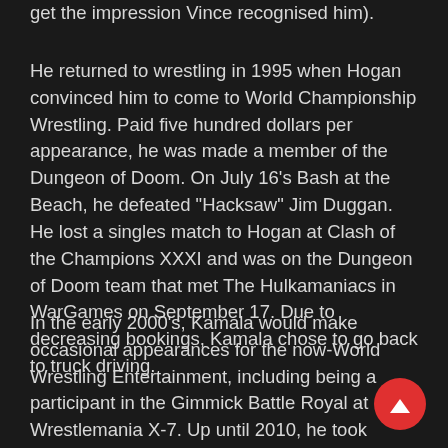get the impression Vince recognised him).
He returned to wrestling in 1995 when Hogan convinced him to come to World Championship Wrestling. Paid five hundred dollars per appearance, he was made a member of the Dungeon of Doom. On July 16's Bash at the Beach, he defeated "Hacksaw" Jim Duggan. He lost a singles match to Hogan at Clash of the Champions XXXI and was on the Dungeon of Doom team that met The Hulkamaniacs in WarGames on September 17. Due to decreasing bookings, Kamala chose to go back to truck driving.
In the early 2000's, Kamala would make occasional appearances for the now-World Wrestling Entertainment, including being a participant in the Gimmick Battle Royal at Wrestlemania X-7. Up until 2010, he took independent bookings until his heath began to decline. Multiple amputations of his feet and